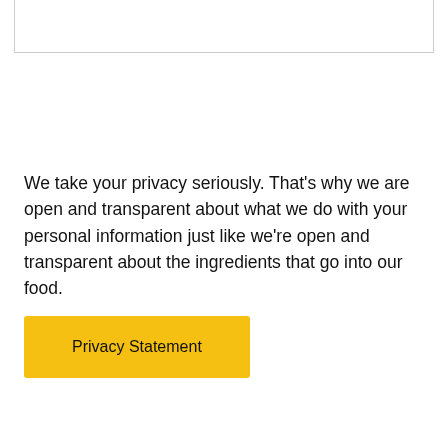We take your privacy seriously. That's why we are open and transparent about what we do with your personal information just like we're open and transparent about the ingredients that go into our food.
Privacy Statement